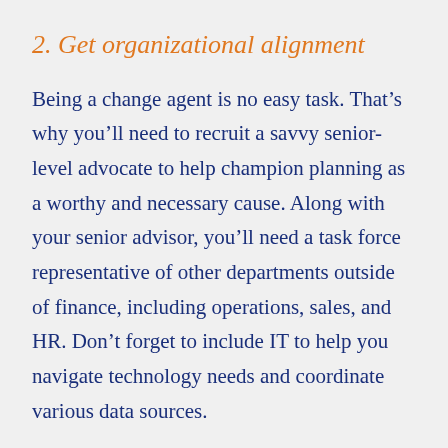2. Get organizational alignment
Being a change agent is no easy task. That’s why you’ll need to recruit a savvy senior-level advocate to help champion planning as a worthy and necessary cause. Along with your senior advisor, you’ll need a task force representative of other departments outside of finance, including operations, sales, and HR. Don’t forget to include IT to help you navigate technology needs and coordinate various data sources.